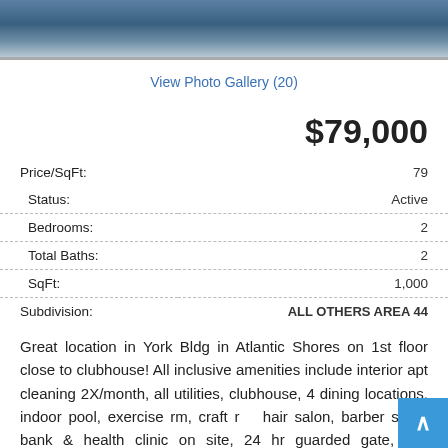[Figure (photo): Aerial or overhead photo, appears to be a pool or outdoor surface with blue-gray tones and white spots]
View Photo Gallery (20)
$79,000
| Field | Value |
| --- | --- |
| Price/SqFt: | 79 |
| Status: | Active |
| Bedrooms: | 2 |
| Total Baths: | 2 |
| SqFt: | 1,000 |
| Subdivision: | ALL OTHERS AREA 44 |
Great location in York Bldg in Atlantic Shores on 1st floor close to clubhouse! All inclusive amenities include interior apt cleaning 2X/month, all utilities, clubhouse, 4 dining locations, indoor pool, exercise rm, craft rm, hair salon, barber shop, bank & health clinic on site, 24 hr guarded gate, lots community